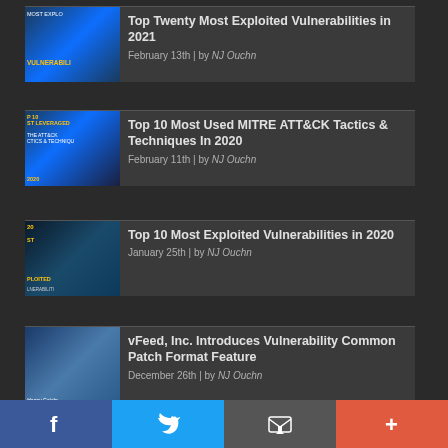Top Twenty Most Exploited Vulnerabilities in 2021 | February 13th | by NJ Ouchn
Top 10 Most Used MITRE ATT&CK Tactics & Techniques In 2020 | February 11th | by NJ Ouchn
Top 10 Most Exploited Vulnerabilities in 2020 | January 25th | by NJ Ouchn
vFeed, Inc. Introduces Vulnerability Common Patch Format Feature | December 26th | by NJ Ouchn
Top 5 Critical CVEs Vulnerability from ...
Facebook | Twitter | Email | More